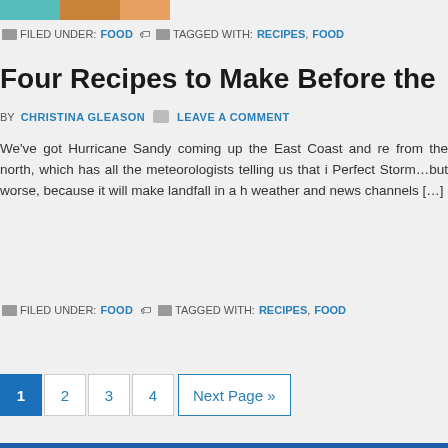[Figure (photo): Partial photo at top of page, cropped food image]
FILED UNDER: FOOD   TAGGED WITH: RECIPES, FOOD
Four Recipes to Make Before the
BY CHRISTINA GLEASON   LEAVE A COMMENT
We've got Hurricane Sandy coming up the East Coast and re from the north, which has all the meteorologists telling us that i Perfect Storm…but worse, because it will make landfall in a h weather and news channels […]
FILED UNDER: FOOD   TAGGED WITH: RECIPES, FOOD
1  2  3  4  Next Page »